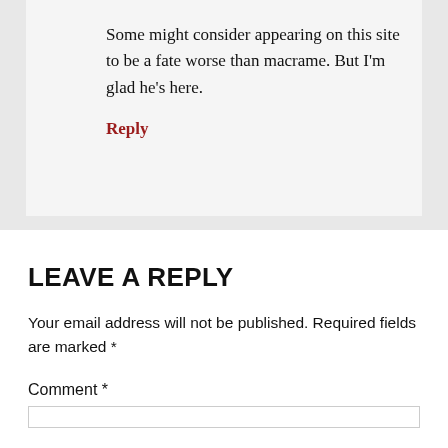Some might consider appearing on this site to be a fate worse than macrame. But I'm glad he's here.
Reply
LEAVE A REPLY
Your email address will not be published. Required fields are marked *
Comment *